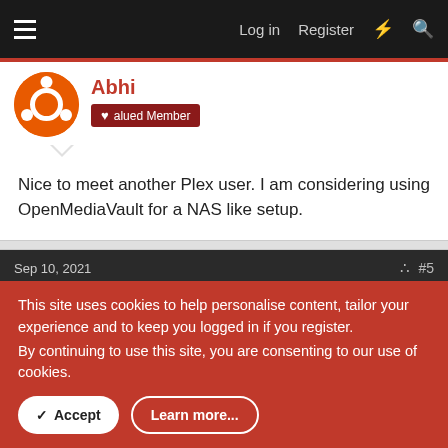Log in  Register
Abhi
Valued Member
Nice to meet another Plex user. I am considering using OpenMediaVault for a NAS like setup.
Sep 10, 2021  #5
PGen98
Valued Member
@Abhi Can't go wrong with OpenMediaVault, for sure! That's
This site uses cookies to help personalise content, tailor your experience and to keep you logged in if you register.
By continuing to use this site, you are consenting to our use of cookies.
Accept  Learn more...